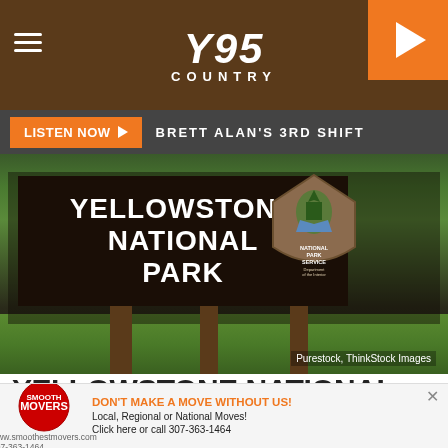Y95 COUNTRY
LISTEN NOW ▶  BRETT ALAN'S 3RD SHIFT
[Figure (photo): Yellowstone National Park entrance sign with National Park Service arrowhead badge, wooden posts, green trees in background. Photo credit: Purestock, ThinkStock Images]
YELLOWSTONE NATIONAL PARK FIRE DANGER LOWERED TO HIGH FROM VERY HIGH
DON'T MAKE A MOVE WITHOUT US! Local, Regional or National Moves! Click here or call 307-363-1464